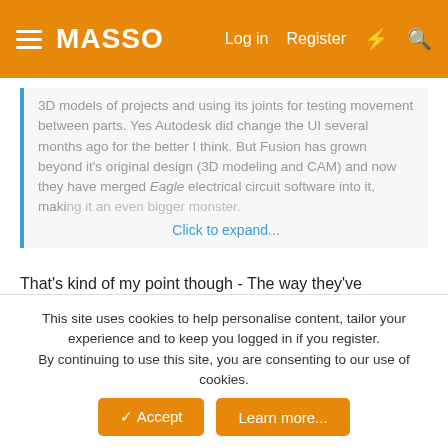MASSO | Log in | Register
3D models of projects and using its joints for testing movement between parts. Yes Autodesk did change the UI several months ago for the better I think. But Fusion has grown beyond it's original design (3D modeling and CAM) and now they have merged Eagle electrical circuit software into it, making it an even bigger monster.
Click to expand...
That's kind of my point though - The way they've implemented their software, there are all these forced upgrades, and with many of the major ones they've modified the software enough that someone who doesn't use it every single day has to re-learn it. In the 2 years I used it, there were at least two upgrades that changed things around enough that I lost a couple days trying to get my bearings again. The other thing with Fusion is that it breaks all kinds of usability rules with its bizarro-world UI. There's a reason why user interface standards exist and why
This site uses cookies to help personalise content, tailor your experience and to keep you logged in if you register.
By continuing to use this site, you are consenting to our use of cookies.